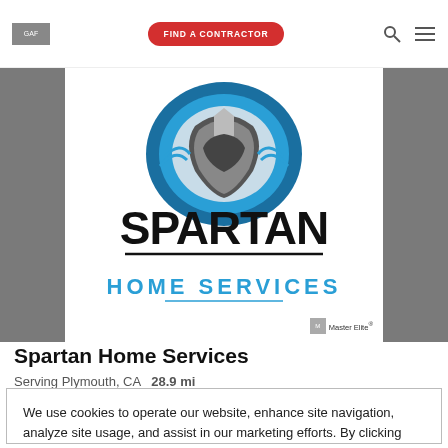GAF | FIND A CONTRACTOR
[Figure (logo): Spartan Home Services logo with Spartan helmet shield and text SPARTAN HOME SERVICES, plus Master Elite badge]
Spartan Home Services
Serving Plymouth, CA  28.9 mi
We use cookies to operate our website, enhance site navigation, analyze site usage, and assist in our marketing efforts. By clicking "Accept Cookies," you agree to this use. For more information please visit our Cookie Notice.
Cookie Preferences  Accept Cookies